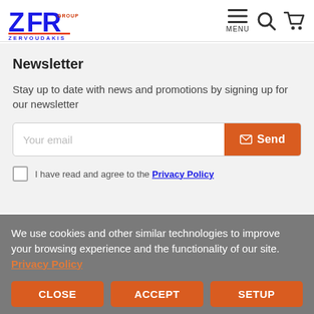[Figure (logo): ZFR Group Zervoudakis logo with blue letters and red underline]
[Figure (infographic): Navigation icons: hamburger menu with MENU label, search magnifier, shopping cart]
Newsletter
Stay up to date with news and promotions by signing up for our newsletter
Your email [Send button]
I have read and agree to the Privacy Policy
We use cookies and other similar technologies to improve your browsing experience and the functionality of our site. Privacy Policy
CLOSE  ACCEPT  SETUP